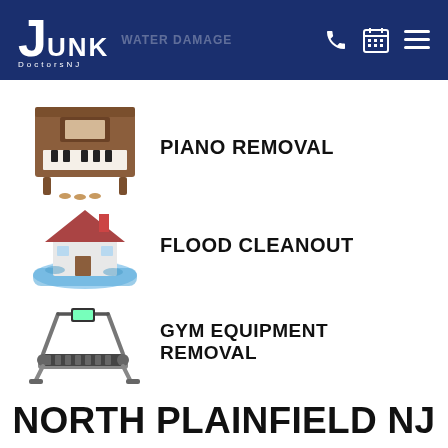JUNK DoctorsNJ | WATER DAMAGE
[Figure (illustration): Upright piano icon in brown wood color]
PIANO REMOVAL
[Figure (illustration): Flooded house illustration]
FLOOD CLEANOUT
[Figure (illustration): Treadmill gym equipment icon]
GYM EQUIPMENT REMOVAL
NORTH PLAINFIELD NJ